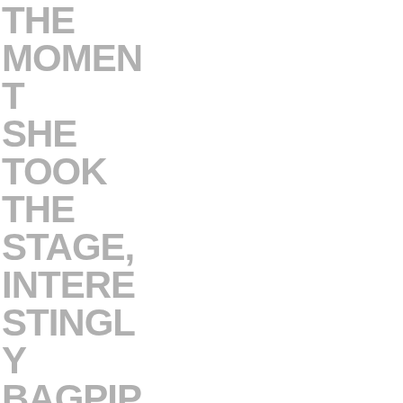THE MOMENT SHE TOOK THE STAGE, INTERESTINGLY BAGPIPED IN BY MRU PRESIDENT DR. DAVID DOCHERTY, SHE COMMANDED THE EVENING. WITH THE WARM GLOW